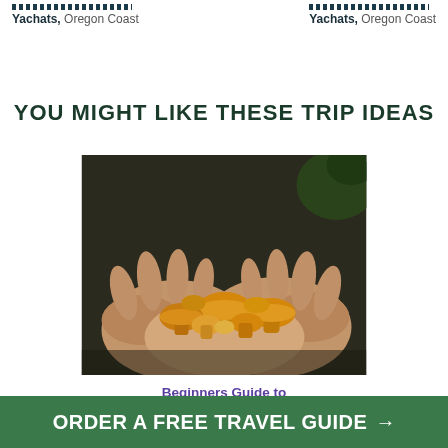Yachats, Oregon Coast
Yachats, Oregon Coast
YOU MIGHT LIKE THESE TRIP IDEAS
[Figure (photo): Two hands cupping a collection of wild chanterelle mushrooms against a dark background]
Beginners Guide to
ORDER A FREE TRAVEL GUIDE →